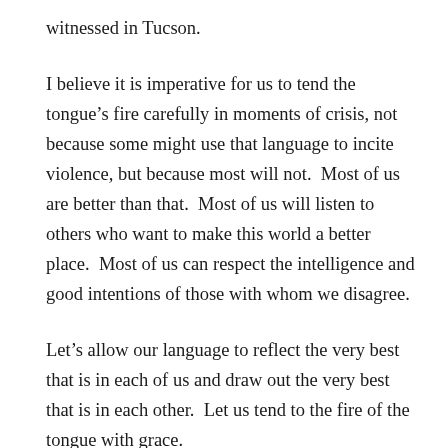witnessed in Tucson.
I believe it is imperative for us to tend the tongue’s fire carefully in moments of crisis, not because some might use that language to incite violence, but because most will not.  Most of us are better than that.  Most of us will listen to others who want to make this world a better place.  Most of us can respect the intelligence and good intentions of those with whom we disagree.
Let’s allow our language to reflect the very best that is in each of us and draw out the very best that is in each other.  Let us tend to the fire of the tongue with grace.